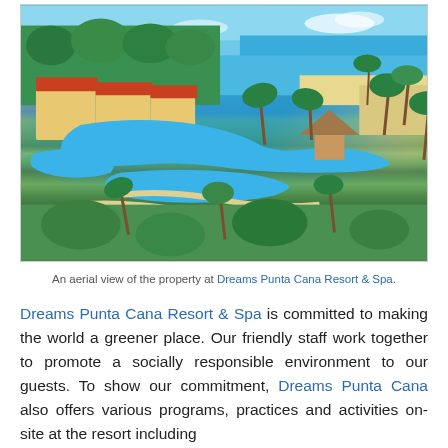[Figure (photo): Aerial view of Dreams Punta Cana Resort & Spa showing swimming pools, palm trees, resort buildings with red roofs, and the Caribbean sea in the background]
An aerial view of the property at Dreams Punta Cana Resort & Spa.
Dreams Punta Cana Resort & Spa is committed to making the world a greener place. Our friendly staff work together to promote a socially responsible environment to our guests. To show our commitment, Dreams Punta Cana also offers various programs, practices and activities on-site at the resort including